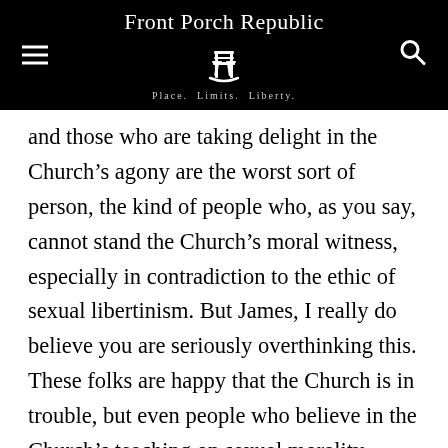Front Porch Republic — Place. Limits. Liberty.
and those who are taking delight in the Church's agony are the worst sort of person, the kind of people who, as you say, cannot stand the Church's moral witness, especially in contradiction to the ethic of sexual libertinism. But James, I really do believe you are seriously overthinking this. These folks are happy that the Church is in trouble, but even people who believe in the Church's teaching on sexual morality — people like me — are scandalized by the fact that